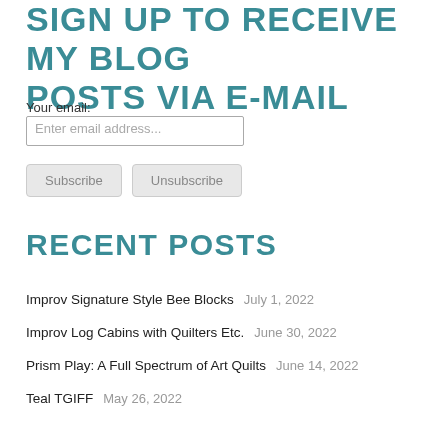SIGN UP TO RECEIVE MY BLOG POSTS VIA E-MAIL
Your email:
Enter email address...
Subscribe   Unsubscribe
RECENT POSTS
Improv Signature Style Bee Blocks   July 1, 2022
Improv Log Cabins with Quilters Etc.   June 30, 2022
Prism Play: A Full Spectrum of Art Quilts   June 14, 2022
Teal TGIFF   May 26, 2022